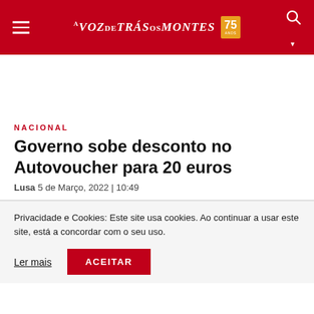A VOZ DE TRÁS-OS-MONTES 75
NACIONAL
Governo sobe desconto no Autovoucher para 20 euros
Lusa 5 de Março, 2022 | 10:49
Privacidade e Cookies: Este site usa cookies. Ao continuar a usar este site, está a concordar com o seu uso.
Ler mais   ACEITAR